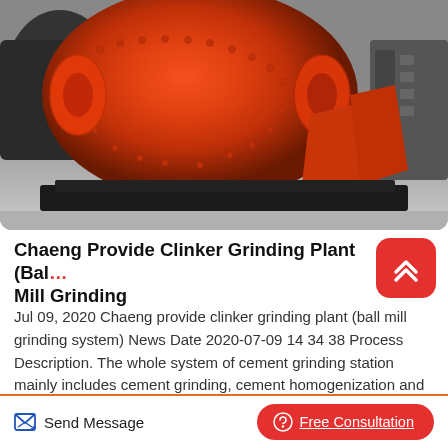[Figure (photo): Large orange ball mill / clinker grinding machine in an industrial warehouse setting. The machine is painted bright orange-red with a large cylindrical drum and black metal base frame.]
Chaeng Provide Clinker Grinding Plant (Ball Mill Grinding
Jul 09, 2020 Chaeng provide clinker grinding plant (ball mill grinding system) News Date 2020-07-09 14 34 38 Process Description. The whole system of cement grinding station mainly includes cement grinding, cement homogenization and batching, cement packaging and bulk loading. And the
Send Message   Free Consultation